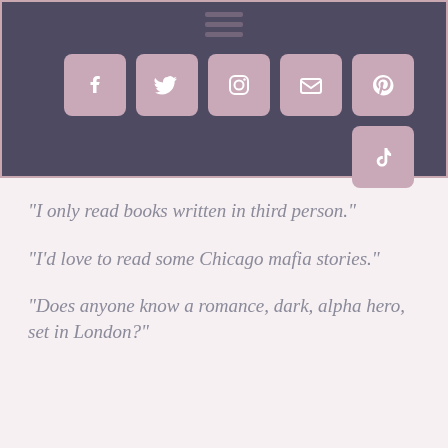[Figure (screenshot): Dark slate-blue header banner with a faint menu icon at top center and five social media icon buttons (Facebook, Twitter, Instagram, Email, Pinterest) in a row, plus a TikTok icon below Pinterest, all in muted pink rounded-square boxes.]
“I only read books written in third person.”
“I’d love to read some Chicago mafia stories.”
“Does anyone know a romance, dark, alpha hero, set in London?”